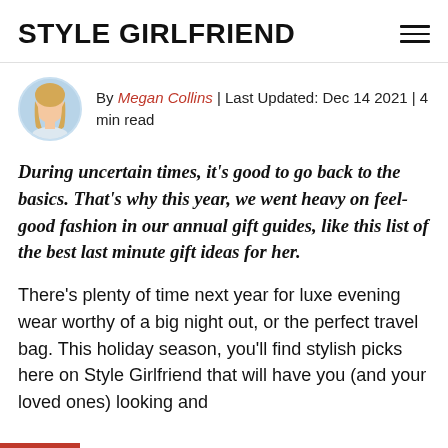STYLE GIRLFRIEND
By Megan Collins | Last Updated: Dec 14 2021 | 4 min read
During uncertain times, it's good to go back to the basics. That's why this year, we went heavy on feel-good fashion in our annual gift guides, like this list of the best last minute gift ideas for her.
There's plenty of time next year for luxe evening wear worthy of a big night out, or the perfect travel bag. This holiday season, you'll find stylish picks here on Style Girlfriend that will have you (and your loved ones) looking and